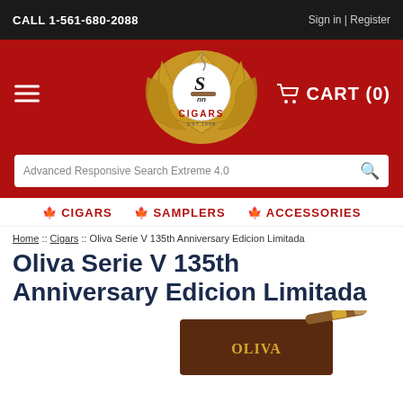CALL 1-561-680-2088 | Sign in | Register
[Figure (logo): Smoke Inn Cigars logo — circular badge with golden tobacco leaves and 'EST. 1996']
CART (0)
Advanced Responsive Search Extreme 4.0
CIGARS  SAMPLERS  ACCESSORIES
Home :: Cigars :: Oliva Serie V 135th Anniversary Edicion Limitada
Oliva Serie V 135th Anniversary Edicion Limitada
[Figure (photo): Product photo showing a brown box labeled OLIVA with a cigar resting on top, on a white background]